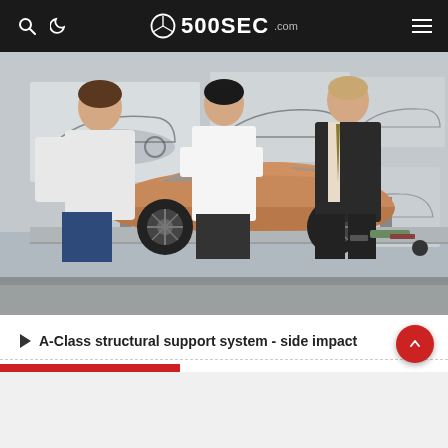500SEC.com
[Figure (photo): Three men in a Mercedes-Benz design studio examining a clay scale model of a car on a metal work table. Car design sketches and renderings are visible on the wall behind them.]
A-Class structural support system - side impact